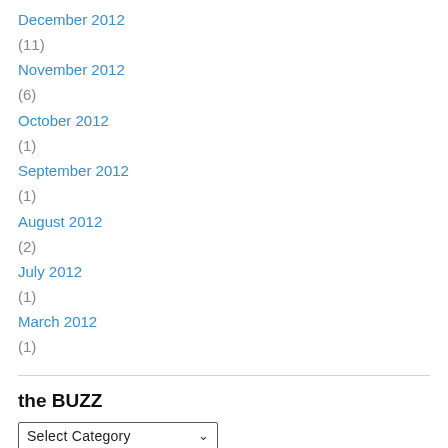December 2012 (11)
November 2012 (6)
October 2012 (1)
September 2012 (1)
August 2012 (2)
July 2012 (1)
March 2012 (1)
the BUZZ
Select Category
Meta
Register
Log in
Entries feed
Comments feed